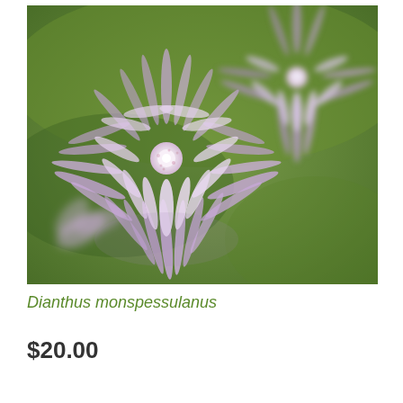[Figure (photo): Close-up photograph of Dianthus monspessulanus flowers with fringed lavender-purple petals against a blurred green background. Multiple flowers visible, with delicate feathery petal edges radiating from white centers with pink speckles.]
Dianthus monspessulanus
$20.00